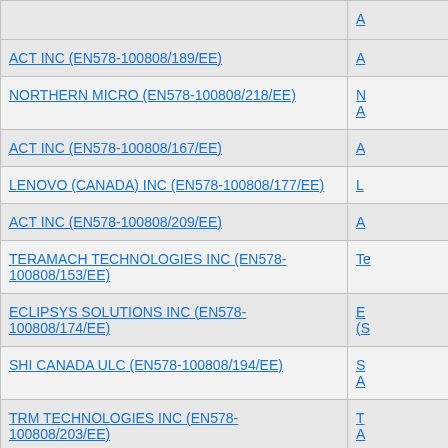| Supplier / Contract |  |
| --- | --- |
| ACT INC (EN578-100808/189/EE) | A |
| NORTHERN MICRO (EN578-100808/218/EE) | N
A |
| ACT INC (EN578-100808/167/EE) | A |
| LENOVO (CANADA) INC (EN578-100808/177/EE) | L |
| ACT INC (EN578-100808/209/EE) | A |
| TERAMACH TECHNOLOGIES INC (EN578-100808/153/EE) | T |
| ECLIPSYS SOLUTIONS INC (EN578-100808/174/EE) | E
(S |
| SHI CANADA ULC (EN578-100808/194/EE) | S
A |
| TRM TECHNOLOGIES INC (EN578-100808/203/EE) | T
A |
| ACT INC (EN578-100808/171/EE) | A
A |
| SANI-INTERNATIONAL TECHNOLOGY ADVISORS INC (EN578-100808/208/EE) | S |